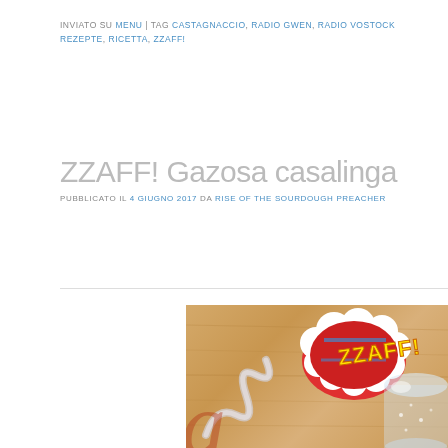INVIATO SU MENU | TAG CASTAGNACCIO, RADIO GWEN, RADIO VOSTOCK, REZEPTE, RICETTA, ZZAFF!
ZZAFF! Gazosa casalinga
PUBBLICATO IL 4 GIUGNO 2017 DA RISE OF THE SOURDOUGH PREACHER
[Figure (photo): Photo of a wooden board with a ZZAFF! branded sticker/card (comic-book style with yellow text on red/blue burst background) and a glass of sparkling drink, with a decorative glass straw or curl, partial cursive text visible in bottom-left corner.]